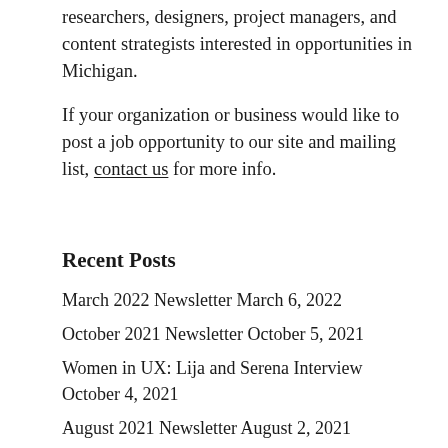researchers, designers, project managers, and content strategists interested in opportunities in Michigan.
If your organization or business would like to post a job opportunity to our site and mailing list, contact us for more info.
Recent Posts
March 2022 Newsletter March 6, 2022
October 2021 Newsletter October 5, 2021
Women in UX: Lija and Serena Interview October 4, 2021
August 2021 Newsletter August 2, 2021